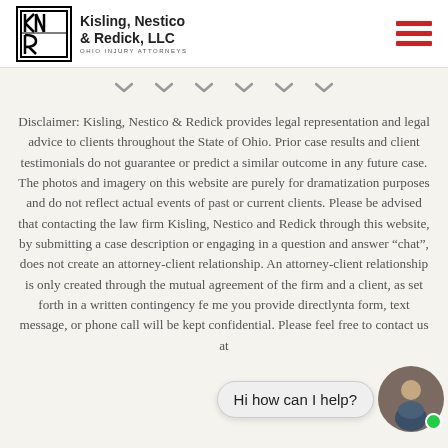Kisling, Nestico & Redick, LLC — Ohio Injury Attorneys
Disclaimer: Kisling, Nestico & Redick provides legal representation and legal advice to clients throughout the State of Ohio. Prior case results and client testimonials do not guarantee or predict a similar outcome in any future case. The photos and imagery on this website are purely for dramatization purposes and do not reflect actual events of past or current clients. Please be advised that contacting the law firm Kisling, Nestico and Redick through this website, by submitting a case description or engaging in a question and answer “chat”, does not create an attorney-client relationship. An attorney-client relationship is only created through the mutual agreement of the firm and a client, as set forth in a written contingency fe... you provide directly... form, text message, or phone call will be kept confidential. Please feel free to contact us at
Hi how can I help?